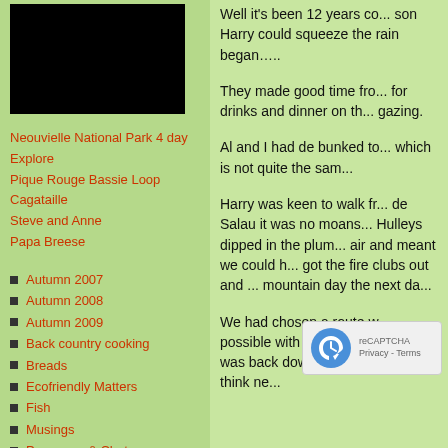[Figure (photo): Dark/black rectangular photo or image placeholder at top of left column]
Neouvielle National Park 4 day Explore
Pique Rouge Bassie Loop
Cagataille
Steve and Anne
Papa Breese
Autumn 2007
Autumn 2008
Autumn 2009
Back country cooking
Breads
Ecofriendly Matters
Fish
Musings
Preserves & Chutneys
Recipes
Salad Dressings
Spring 2007
Spring 2008
Well it's been 12 years co... son Harry could squeeze ... the rain began…..
They made good time fro... for drinks and dinner on th... gazing.
Al and I had de bunked to... which is not quite the sam...
Harry was keen to walk fr... de Salau it was no moans... Hulleys dipped in the plum... air and meant we could h... got the fire clubs out and ... mountain day the next da...
We had chosen a route w... possible with w... led the way fo... was back dow... was a total sta... I think ne...